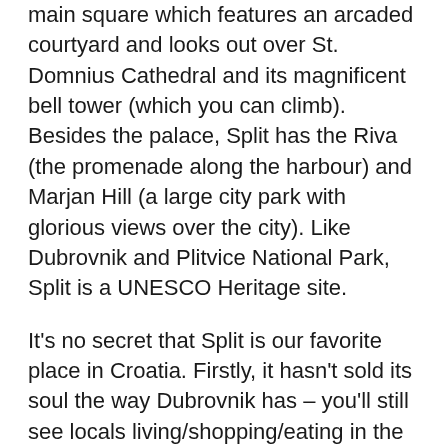main square which features an arcaded courtyard and looks out over St. Domnius Cathedral and its magnificent bell tower (which you can climb). Besides the palace, Split has the Riva (the promenade along the harbour) and Marjan Hill (a large city park with glorious views over the city). Like Dubrovnik and Plitvice National Park, Split is a UNESCO Heritage site.
It's no secret that Split is our favorite place in Croatia. Firstly, it hasn't sold its soul the way Dubrovnik has – you'll still see locals living/shopping/eating in the city center. It is still a real city. Secondly: it's the best base from which to visit both the islands and the Dalmatian interior. There's lots to see in the area.
Recommended Tours: A 1.5 Hour Walking Tour. If you're a Game of Thrones fan you'll like